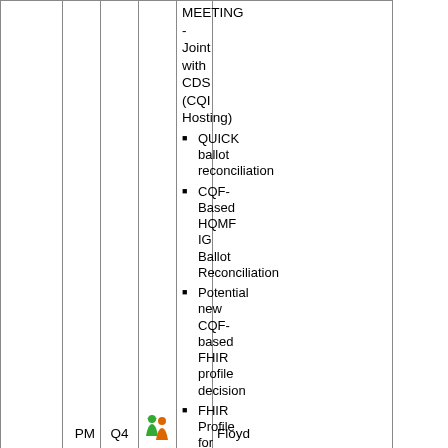|  | PM | Q4 | [icon] | MEETING - Joint with CDS (CQI Hosting)
• QUICK ballot reconciliation
• CQF-Based HQMF IG Ballot Reconciliation
• Potential new CQF-based FHIR profile decision
• FHIR Profile for Quality Reconciliation?
• Arden Syntax/CDS PSS - Clinical Decision Support Implementation Guide (Robert Jenders) | Floyd |
| . |  |  |  |  |  |
|  |  | Q1 | [icon] | NO MEETING | Floyd |